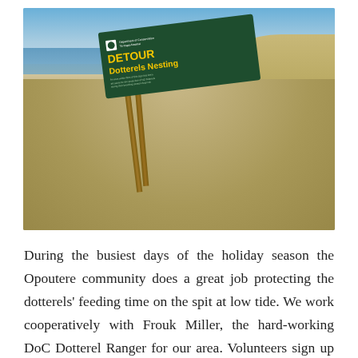[Figure (photo): Beach scene with a green Department of Conservation sign reading 'DETOUR Dotterels Nesting' tilted in sandy beach with ocean and dunes visible in background]
During the busiest days of the holiday season the Opoutere community does a great job protecting the dotterels' feeding time on the spit at low tide. We work cooperatively with Frouk Miller, the hard-working DoC Dotterel Ranger for our area. Volunteers sign up to do a couple of hours by the spit barrier, keeping an eye out